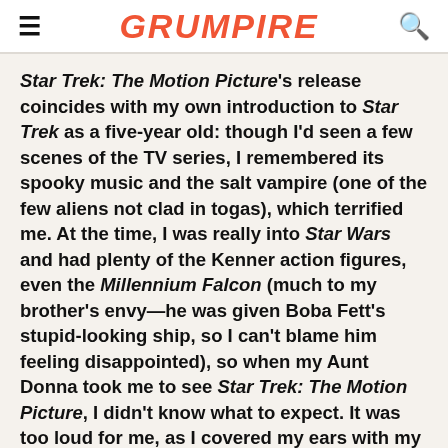GRUMPIRE
Star Trek: The Motion Picture's release coincides with my own introduction to Star Trek as a five-year old: though I'd seen a few scenes of the TV series, I remembered its spooky music and the salt vampire (one of the few aliens not clad in togas), which terrified me. At the time, I was really into Star Wars and had plenty of the Kenner action figures, even the Millennium Falcon (much to my brother's envy—he was given Boba Fett's stupid-looking ship, so I can't blame him feeling disappointed), so when my Aunt Donna took me to see Star Trek: The Motion Picture, I didn't know what to expect. It was too loud for me, as I covered my ears with my hands, and the otherworldly, bombastic music scared me, as did the bumpy-headed Klingons and a vampiric-